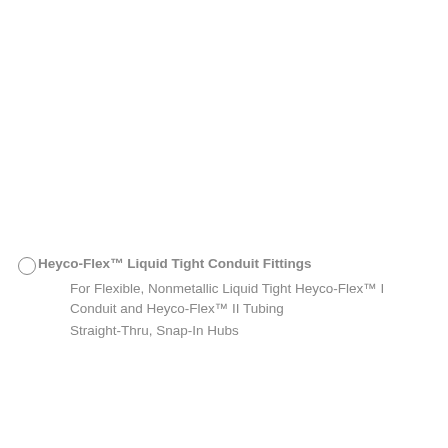Heyco-Flex™ Liquid Tight Conduit Fittings For Flexible, Nonmetallic Liquid Tight Heyco-Flex™ I Conduit and Heyco-Flex™ II Tubing Straight-Thru, Snap-In Hubs